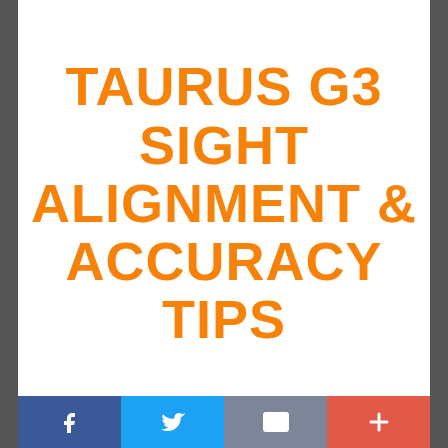TAURUS G3 SIGHT ALIGNMENT & ACCURACY TIPS
[Figure (infographic): Social share bar with four buttons: Facebook (blue), Twitter (light blue), Email (grey), Plus/More (red-orange)]